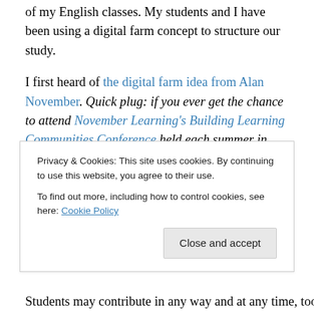of my English classes. My students and I have been using a digital farm concept to structure our study.
I first heard of the digital farm idea from Alan November. Quick plug: if you ever get the chance to attend November Learning's Building Learning Communities Conference held each summer in Boston, go. My BLC experiences have been some of the most practical, rewarding, and provocative professional development I have ever had.
In my experiments with a digital farm, every student is given a chore (or two). Over the course of a
Privacy & Cookies: This site uses cookies. By continuing to use this website, you agree to their use. To find out more, including how to control cookies, see here: Cookie Policy
Students may contribute in any way and at any time, too. If